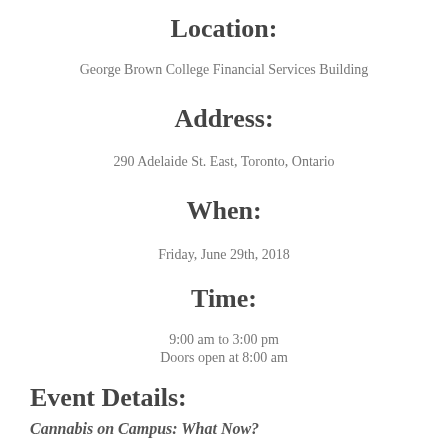Location:
George Brown College Financial Services Building
Address:
290 Adelaide St. East, Toronto, Ontario
When:
Friday, June 29th, 2018
Time:
9:00 am to 3:00 pm
Doors open at 8:00 am
Event Details:
Cannabis on Campus: What Now?